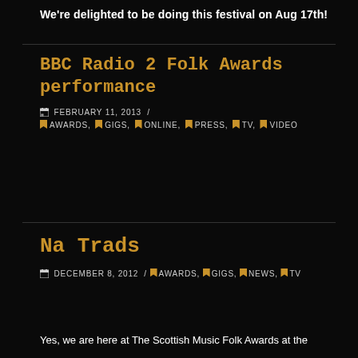We're delighted to be doing this festival on Aug 17th!
BBC Radio 2 Folk Awards performance
FEBRUARY 11, 2013 / AWARDS, GIGS, ONLINE, PRESS, TV, VIDEO
Na Trads
DECEMBER 8, 2012 / AWARDS, GIGS, NEWS, TV
Yes, we are here at The Scottish Music Folk Awards at the